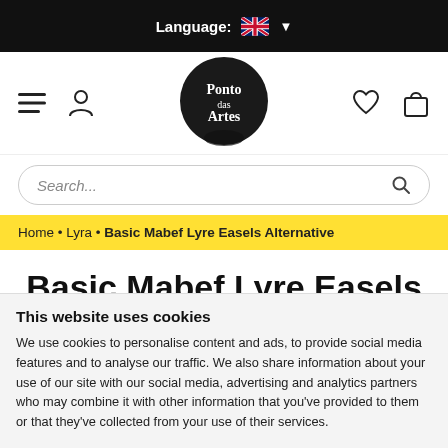Language: 🇬🇧 ▼
[Figure (logo): Ponto das Artes circular black logo with white text]
[Figure (screenshot): Search bar with italic placeholder text 'Search...' and magnifying glass icon]
Home • Lyra • Basic Mabef Lyre Easels Alternative
Basic Mabef Lyre Easels Alternative
This website uses cookies
We use cookies to personalise content and ads, to provide social media features and to analyse our traffic. We also share information about your use of our site with our social media, advertising and analytics partners who may combine it with other information that you've provided to them or that they've collected from your use of their services.